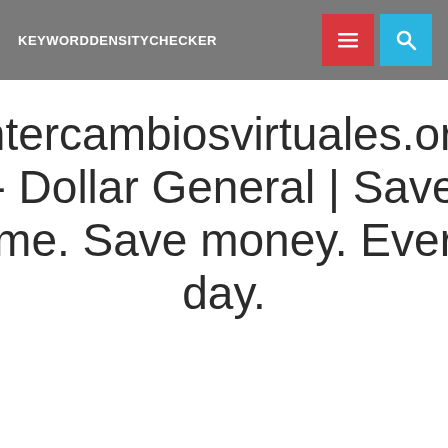KEYWORDDENSITYCHECKER
Intercambiosvirtuales.org - Dollar General | Save time. Save money. Every day.